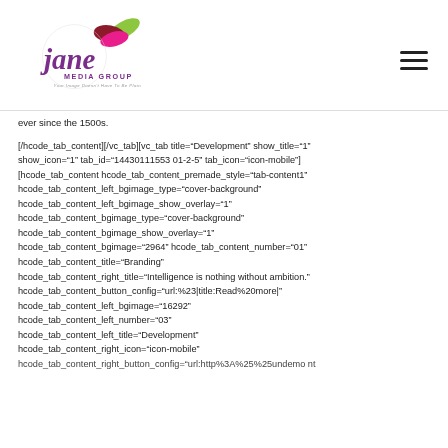[Figure (logo): Jane Media Group logo with colorful leaf/petal design above stylized 'jane' text and 'MEDIA GROUP' subtitle and tagline 'Your Image Doesn't Have To Be Plain']
ever since the 1500s.
[/hcode_tab_content][/vc_tab][vc_tab title="Development" show_title="1" show_icon="1" tab_id="14430111553 01-2-5" tab_icon="icon-mobile"] [hcode_tab_content hcode_tab_content_premade_style="tab-content1" hcode_tab_content_left_bgimage_type="cover-background" hcode_tab_content_left_bgimage_show_overlay="1" hcode_tab_content_bgimage_type="cover-background" hcode_tab_content_bgimage_show_overlay="1" hcode_tab_content_bgimage="2964" hcode_tab_content_number="01" hcode_tab_content_title="Branding" hcode_tab_content_right_title="Intelligence is nothing without ambition." hcode_tab_content_button_config="url:%23|title:Read%20more|" hcode_tab_content_left_bgimage="16292" hcode_tab_content_left_number="03" hcode_tab_content_left_title="Development" hcode_tab_content_right_icon="icon-mobile" hcode_tab_content_right_button_config="url:http%3A%25%25undefined